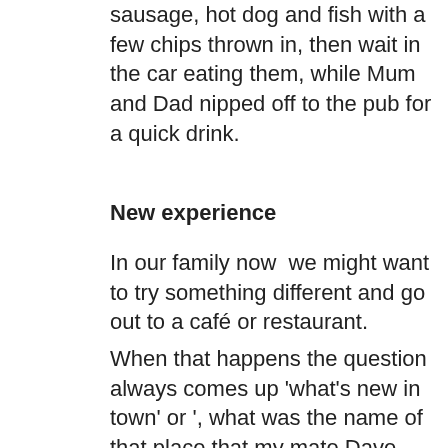sausage, hot dog and fish with a few chips thrown in, then wait in the car eating them, while Mum and Dad nipped off to the pub for a quick drink.
New experience
In our family now  we might want to try something different and go out to a café or restaurant.
When that happens the question always comes up 'what's new in town' or ', what was the name of that place that my mate Dave was talking about last week'?
Following this, we'll call or text Dave to ask him what the restaurant was called because we know he's pretty reliable when it comes to good food!